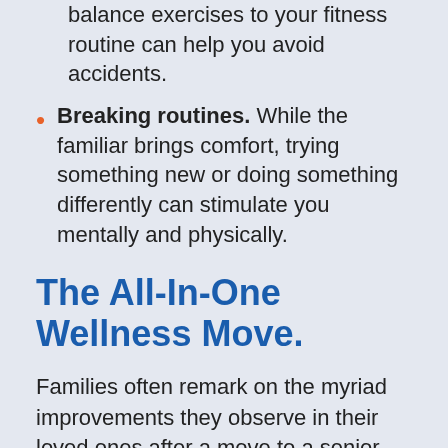balance exercises to your fitness routine can help you avoid accidents.
Breaking routines. While the familiar brings comfort, trying something new or doing something differently can stimulate you mentally and physically.
The All-In-One Wellness Move.
Families often remark on the myriad improvements they observe in their loved ones after a move to a senior living community. It could be the food, the